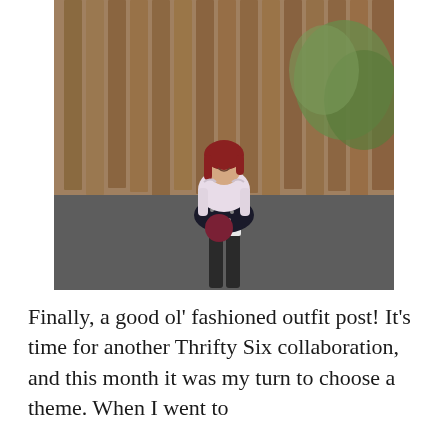[Figure (photo): A young woman with red hair standing outdoors on a driveway, wearing a light pink ruffled sweater, black polka-dot skirt, white knee socks, black tall boots, and holding a round burgundy/maroon bag. Background shows a wooden fence and greenery.]
Finally, a good ol' fashioned outfit post! It's time for another Thrifty Six collaboration, and this month it was my turn to choose a theme. When I went to